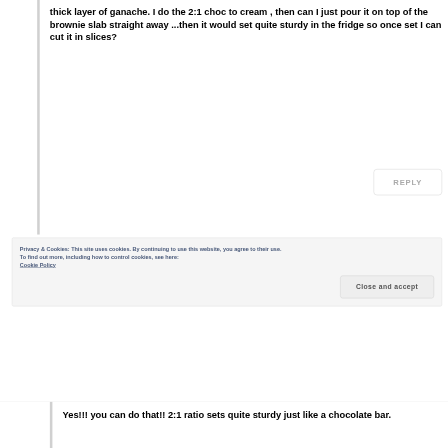thick layer of ganache. I do the 2:1 choc to cream , then can I just pour it on top of the brownie slab straight away ...then it would set quite sturdy in the fridge so once set I can cut it in slices?
REPLY
Privacy & Cookies: This site uses cookies. By continuing to use this website, you agree to their use.
To find out more, including how to control cookies, see here: Cookie Policy
Close and accept
Yes!!! you can do that!! 2:1 ratio sets quite sturdy just like a chocolate bar.